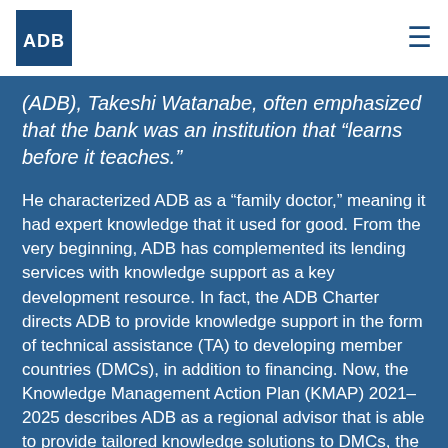ADB
(ADB), Takeshi Watanabe, often emphasized that the bank was an institution that “learns before it teaches.”
He characterized ADB as a “family doctor,” meaning it had expert knowledge that it used for good. From the very beginning, ADB has complemented its lending services with knowledge support as a key development resource. In fact, the ADB Charter directs ADB to provide knowledge support in the form of technical assistance (TA) to developing member countries (DMCs), in addition to financing. Now, the Knowledge Management Action Plan (KMAP) 2021–2025 describes ADB as a regional advisor that is able to provide tailored knowledge solutions to DMCs, the latest stage in a decades-long evolution of knowledge